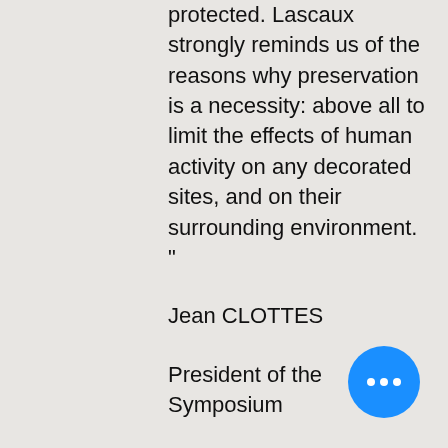protected. Lascaux strongly reminds us of the reasons why preservation is a necessity: above all to limit the effects of human activity on any decorated sites, and on their surrounding environment. “
Jean CLOTTES
President of the Symposium
Now the French government has spent $64 million building a near perfect replica to recreate the original cave.
Fortunately we do have extensive photographic records, and the three dimensional facsimile visitor attra… has been created nearby. It is accura…